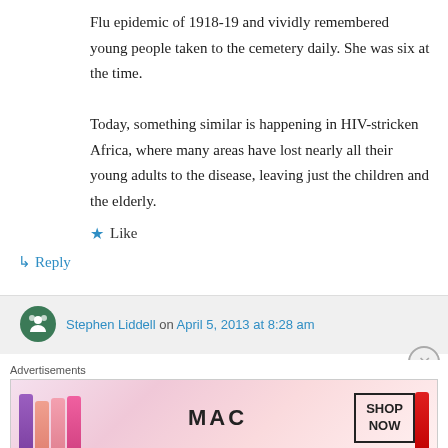Flu epidemic of 1918-19 and vividly remembered young people taken to the cemetery daily. She was six at the time.
Today, something similar is happening in HIV-stricken Africa, where many areas have lost nearly all their young adults to the disease, leaving just the children and the elderly.
★ Like
↳ Reply
Stephen Liddell on April 5, 2013 at 8:28 am
Advertisements
[Figure (photo): MAC cosmetics advertisement banner showing lipsticks and the MAC logo with a SHOP NOW call to action box]